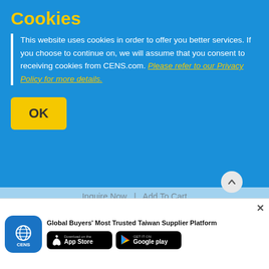Cookies
This website uses cookies in order to offer you better services. If you choose to continue on, we will assume that you consent to receiving cookies from CENS.com. Please refer to our Privacy Policy for more details.
OK
Inquire Now  |  Add To Cart
[Figure (screenshot): Air Caulking Gun product image from AR-TOOLS brand]
Global Buyers' Most Trusted Taiwan Supplier Platform
[Figure (logo): CENS app icon - blue globe icon]
[Figure (other): Download on the App Store button]
[Figure (other): Get it on Google Play button]